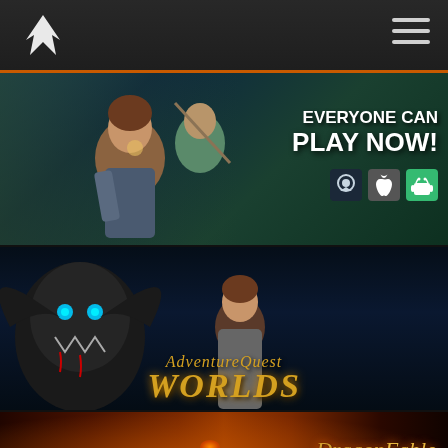Artix Entertainment - navigation header with logo and hamburger menu
[Figure (screenshot): Banner advertisement: game characters with text EVERYONE CAN PLAY NOW! and platform icons for Steam, Apple, Android]
[Figure (screenshot): AdventureQuest Worlds banner with dark fantasy art showing dragon creature and hero characters]
[Figure (screenshot): DragonFable game banner with fiery background and DragonFable logo text]
[Figure (screenshot): EpicDuel game banner with dark background and epicduel logo text]
[Figure (screenshot): OverSoul game banner with dark background and OverSoul logo text]
[Figure (screenshot): AdventureQuest game banner with character and AdventureQuest logo text]